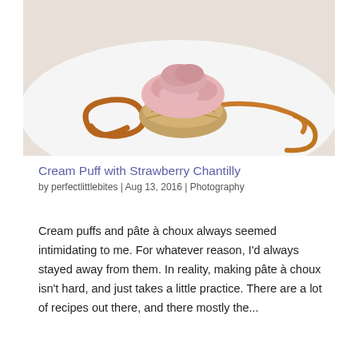[Figure (photo): A cream puff pastry topped with pink strawberry chantilly cream, served on a white plate with caramel sauce drizzled around it.]
Cream Puff with Strawberry Chantilly
by perfectlittlebites | Aug 13, 2016 | Photography
Cream puffs and pâte à choux always seemed intimidating to me. For whatever reason, I'd always stayed away from them. In reality, making pâte à choux isn't hard, and just takes a little practice. There are a lot of recipes out there, and there mostly the...